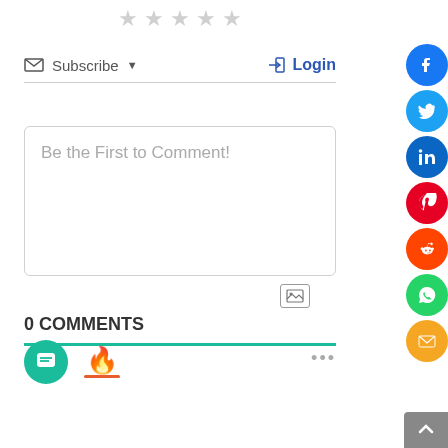[Figure (other): Five grey star rating icons in a row]
Subscribe ▼
Login
Be the First to Comment!
0 COMMENTS
[Figure (other): Social share sidebar with Facebook, Twitter, LinkedIn, Pinterest, Reddit, WhatsApp, Email circular buttons]
[Figure (other): Bottom tab bar with teal chat bubble icon, orange flame icon, and scroll-to-top arrow button]